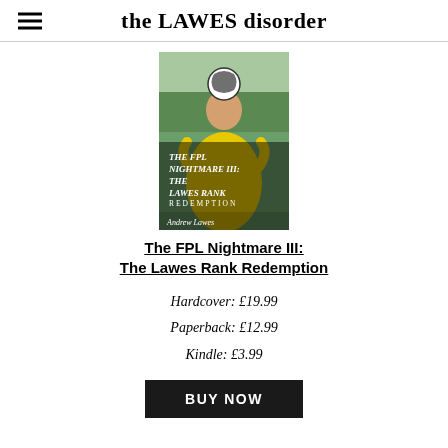the LAWES disorder
[Figure (photo): Book cover of 'The FPL Nightmare III: The Lawes Rank Redemption' by Andrew Lawes. Shows a man in a yellow football kit heading a black and white football, with text overlay on the image.]
The FPL Nightmare III: The Lawes Rank Redemption
Hardcover: £19.99
Paperback: £12.99
Kindle: £3.99
BUY NOW